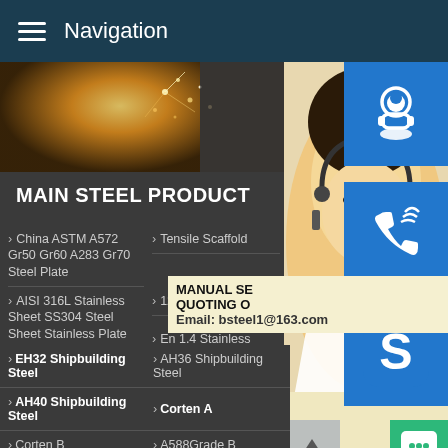Navigation
[Figure (photo): Top banner image showing metal sparks/welding and a female customer service representative with headset]
MAIN STEEL PRODUCT
China ASTM A572 Gr50 Gr60 A283 Gr70 Steel Plate
Tensile Scaffold
AISI 316L Stainless Sheet SS304 Steel Sheet Stainless Plate
12mm
En 1.4 Stainless
ABS B Steel
ABS D Steel
EH32 Shipbuilding Steel
AH36 Shipbuilding Steel
AH40 Shipbuilding Steel
Corten A
Corten B
A588Grade B
SA588Grade B
S355J0WP
MANUAL SE QUOTING O Email: bsteel1@163.com